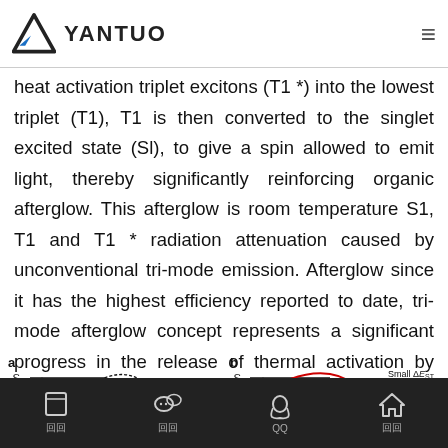YANTUO
heat activation triplet excitons (T1 *) into the lowest triplet (T1), T1 is then converted to the singlet excited state (Sl), to give a spin allowed to emit light, thereby significantly reinforcing organic afterglow. This afterglow is room temperature S1, T1 and T1 * radiation attenuation caused by unconventional tri-mode emission. Afterglow since it has the highest efficiency reported to date, tri-mode afterglow concept represents a significant progress in the release of thermal activation by promoting stable triplet excitons to design efficient organic material afterglow.
[Figure (schematic): Two-panel energy diagram showing (a) large ΔE_ST with S1 and T1 energy levels and transitions, and (b) small ΔE_ST with S1 and T1 energy levels including curved red arrow for TADF/upconversion process.]